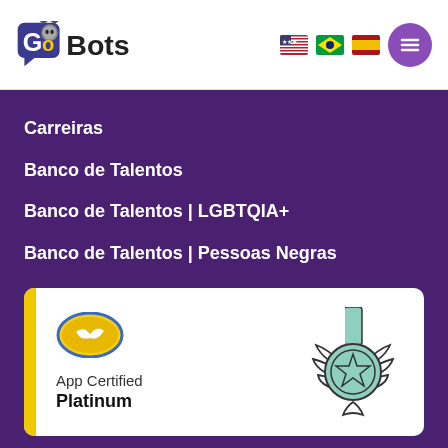[Figure (logo): GoBots logo with chat bubble icon and 'GoBots' text, plus US, Brazil, Spain flag icons and purple menu button]
Carreiras
Banco de Talentos
Banco de Talentos | LGBTQIA+
Banco de Talentos | Pessoas Negras
[Figure (illustration): App Certified Platinum badge card with yellow left bar, handshake logo, and platinum medal/star icon]